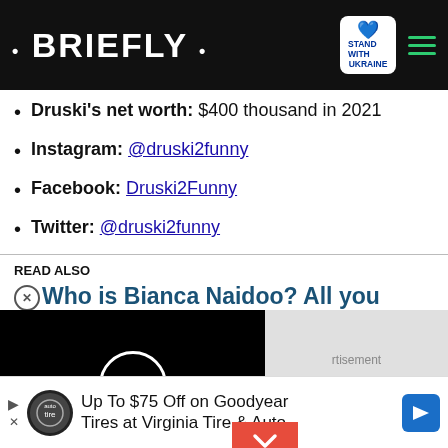• BRIEFLY •  STAND WITH UKRAINE
Druski's net worth: $400 thousand in 2021
Instagram: @druski2funny
Facebook: Druski2Funny
Twitter: @druski2funny
READ ALSO
Who is Bianca Naidoo? All you need to know about Riky Rick's wife
[Figure (other): Video player with black background and white circle play button, with red chevron/collapse button]
Advertisement
Up To $75 Off on Goodyear Tires at Virginia Tire & Auto